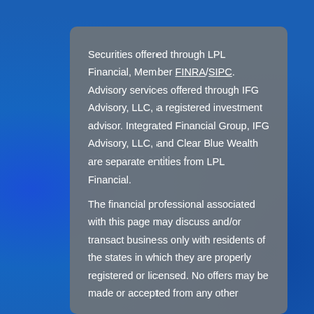Securities offered through LPL Financial, Member FINRA/SIPC. Advisory services offered through IFG Advisory, LLC, a registered investment advisor. Integrated Financial Group, IFG Advisory, LLC, and Clear Blue Wealth are separate entities from LPL Financial.

The financial professional associated with this page may discuss and/or transact business only with residents of the states in which they are properly registered or licensed. No offers may be made or accepted from any other